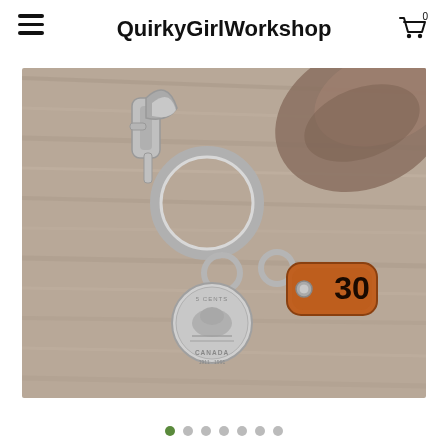QuirkyGirlWorkshop
[Figure (photo): A keychain on a wooden surface featuring a silver swivel clasp, two metal key rings, a Canadian 5-cent coin (featuring a beaver, stamped CANADA), and a rounded rectangular brown leather tag stamped with the number 30, with a metal grommet. A piece of driftwood is visible in the top right corner.]
• (carousel dots: 1 active, 6 inactive)